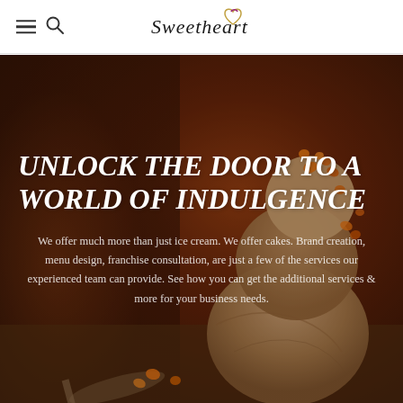Sweetheart [logo]
[Figure (photo): Background photo of ice cream scoops with caramel toppings on a dark warm-toned background]
UNLOCK THE DOOR TO A WORLD OF INDULGENCE
We offer much more than just ice cream. We offer cakes. Brand creation, menu design, franchise consultation, are just a few of the services our experienced team can provide. See how you can get the additional services & more for your business needs.